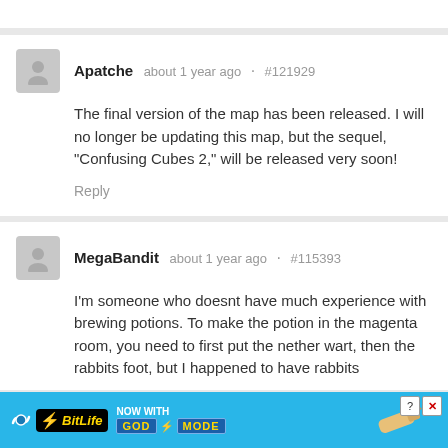Apatche about 1 year ago · #121929
The final version of the map has been released. I will no longer be updating this map, but the sequel, "Confusing Cubes 2," will be released very soon!
Reply
MegaBandit about 1 year ago · #115393
I'm someone who doesnt have much experience with brewing potions. To make the potion in the magenta room, you need to first put the nether wart, then the rabbits foot, but I happened to have rabbits
[Figure (screenshot): BitLife advertisement banner with 'NOW WITH GOD MODE' text on blue background with hand pointing graphic]